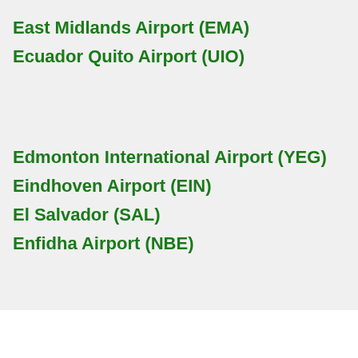East Midlands Airport (EMA)
Ecuador Quito Airport (UIO)
Edmonton International Airport (YEG)
Eindhoven Airport (EIN)
El Salvador (SAL)
Enfidha Airport (NBE)